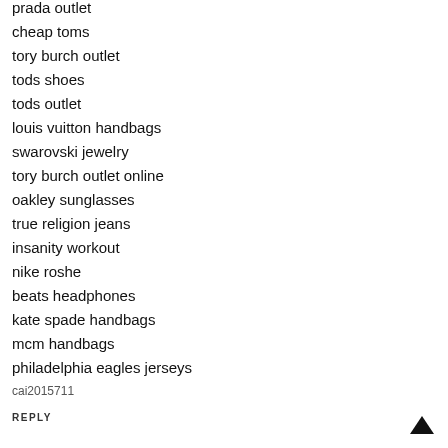prada outlet
cheap toms
tory burch outlet
tods shoes
tods outlet
louis vuitton handbags
swarovski jewelry
tory burch outlet online
oakley sunglasses
true religion jeans
insanity workout
nike roshe
beats headphones
kate spade handbags
mcm handbags
philadelphia eagles jerseys
cai2015711
REPLY